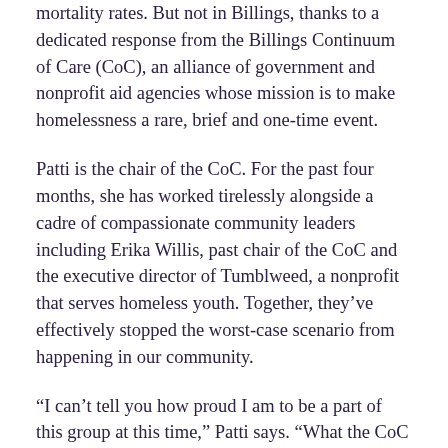mortality rates. But not in Billings, thanks to a dedicated response from the Billings Continuum of Care (CoC), an alliance of government and nonprofit aid agencies whose mission is to make homelessness a rare, brief and one-time event.
Patti is the chair of the CoC. For the past four months, she has worked tirelessly alongside a cadre of compassionate community leaders including Erika Willis, past chair of the CoC and the executive director of Tumblweed, a nonprofit that serves homeless youth. Together, they've effectively stopped the worst-case scenario from happening in our community.
“I can’t tell you how proud I am to be a part of this group at this time,” Patti says. “What the CoC has done has been so successful.”
As soon as it looked like shelter in place and social distancing orders were coming, Patti called the CoC into action to assess the needs of those they served. Shelters like the Montana Rescue Mission and the